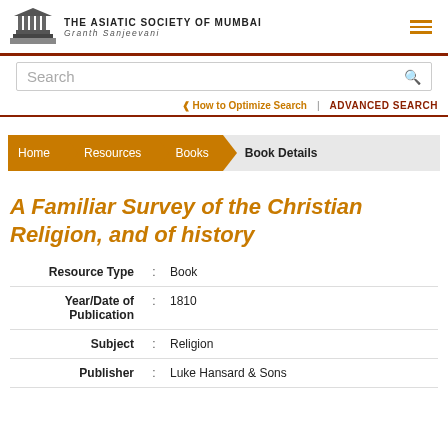THE ASIATIC SOCIETY OF MUMBAI — Granth Sanjeevani
Search
❰ How to Optimize Search | ADVANCED SEARCH
Home > Resources > Books > Book Details
A Familiar Survey of the Christian Religion, and of history
| Field |  | Value |
| --- | --- | --- |
| Resource Type | : | Book |
| Year/Date of Publication | : | 1810 |
| Subject | : | Religion |
| Publisher | : | Luke Hansard & Sons |